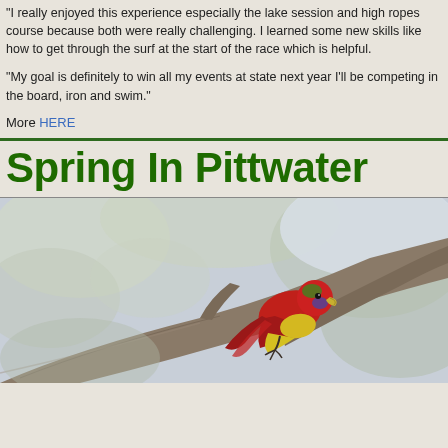“I really enjoyed this experience especially the lake session and high ropes course because both were really challenging. I learned some new skills like how to get through the surf at the start of the race which is helpful.
“My goal is definitely to win all my events at state next year I’ll be competing in the board, iron and swim.”
More HERE
Spring In Pittwater
[Figure (photo): A colorful red, yellow and green parrot (rosella) perched on a branch with blurred foliage in the background. Spring in Pittwater wildlife photo.]